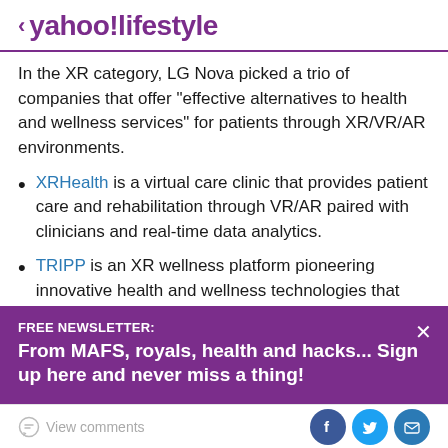< yahoo!lifestyle
In the XR category, LG Nova picked a trio of companies that offer "effective alternatives to health and wellness services" for patients through XR/VR/AR environments.
XRHealth is a virtual care clinic that provides patient care and rehabilitation through VR/AR paired with clinicians and real-time data analytics.
TRIPP is an XR wellness platform pioneering innovative health and wellness technologies that
FREE NEWSLETTER:
From MAFS, royals, health and hacks... Sign up here and never miss a thing!
View comments